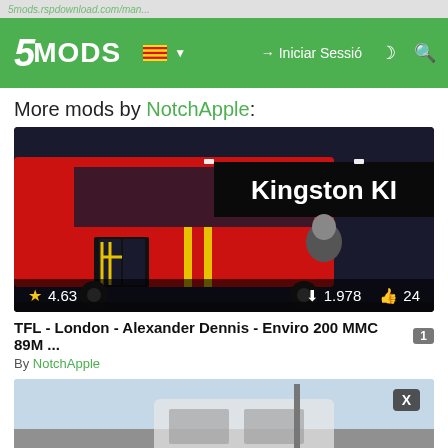5MODS navigation bar with logo, language selector, Iniciar Sessió, and search icons
More mods by NotchApple:
[Figure (screenshot): Screenshot of a red London TFL double-decker bus mod in GTA showing 'Kingston K1' destination, nighttime scene with a bus driver visible. Stats overlay: rating 4.63, downloads 1.978, likes 24.]
TFL - London - Alexander Dennis - Enviro 200 MMC 89M ...
By NotchApple
[Figure (screenshot): Partial screenshot of another mod showing a vehicle interior/exterior in grey/blue tones, with an X close button overlay.]